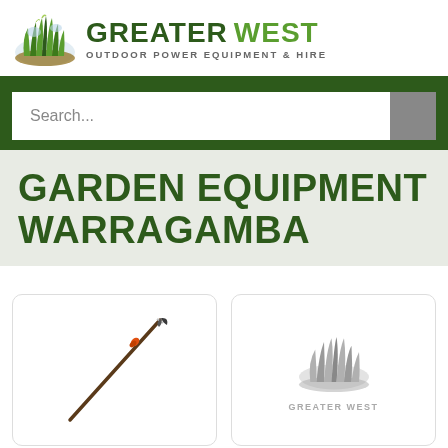[Figure (logo): Greater West Outdoor Power Equipment & Hire logo with grass icon and two-tone green text]
Search...
GARDEN EQUIPMENT WARRAGAMBA
[Figure (photo): Product image of a pole pruner / long-reach tool on a white card background]
[Figure (logo): Greater West greyscale logo placeholder on a white card background]